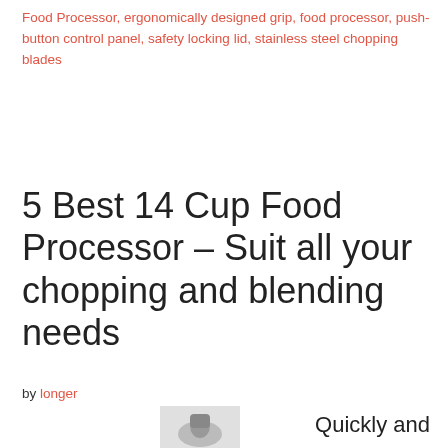Food Processor, ergonomically designed grip, food processor, push-button control panel, safety locking lid, stainless steel chopping blades
5 Best 14 Cup Food Processor – Suit all your chopping and blending needs
by longer
Quickly and